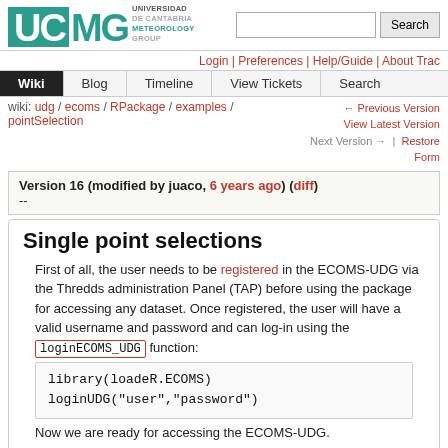[Figure (logo): UC Meteorology Group logo with teal/green branding]
Login | Preferences | Help/Guide | About Trac
Wiki | Blog | Timeline | View Tickets | Search
wiki: udg / ecoms / RPackage / examples / pointSelection — Previous Version | View Latest Version | Next Version → | Restore Form
Version 16 (modified by juaco, 6 years ago) (diff)
--
Single point selections
First of all, the user needs to be registered in the ECOMS-UDG via the Thredds administration Panel (TAP) before using the package for accessing any dataset. Once registered, the user will have a valid username and password and can log-in using the loginECOMS_UDG function:
Now we are ready for accessing the ECOMS-UDG.